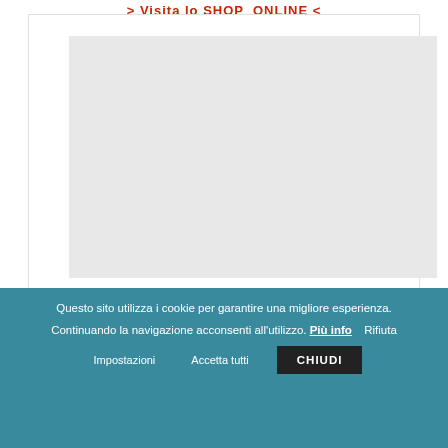> Visita lo SHOP ONLINE <
[Figure (other): Large light grey placeholder image/advertisement block inside a white bordered card]
Questo sito utilizza i cookie per garantire una migliore esperienza. Continuando la navigazione acconsenti all'utilizzo. Più info   Rifiuta
Impostazioni   Accetta tutti   CHIUDI